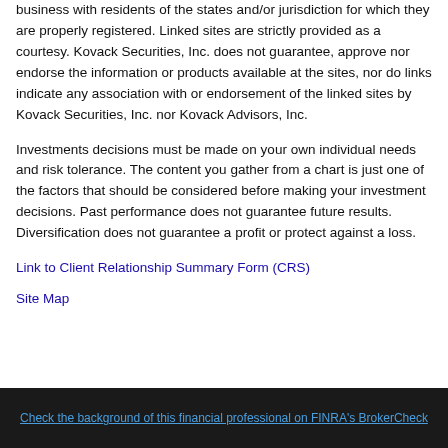business with residents of the states and/or jurisdiction for which they are properly registered. Linked sites are strictly provided as a courtesy. Kovack Securities, Inc. does not guarantee, approve nor endorse the information or products available at the sites, nor do links indicate any association with or endorsement of the linked sites by Kovack Securities, Inc. nor Kovack Advisors, Inc.
Investments decisions must be made on your own individual needs and risk tolerance. The content you gather from a chart is just one of the factors that should be considered before making your investment decisions. Past performance does not guarantee future results. Diversification does not guarantee a profit or protect against a loss.
Link to Client Relationship Summary Form (CRS)
Site Map
Check the background of this financial professional on FINRA's BrokerCheck